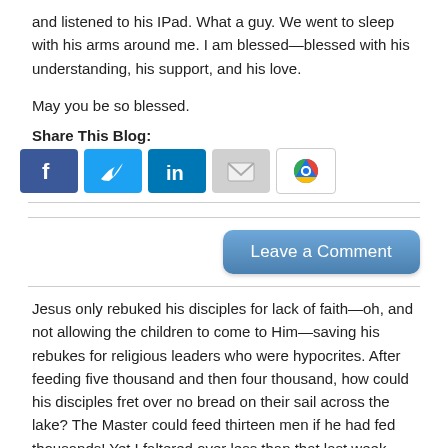and listened to his IPad. What a guy. We went to sleep with his arms around me. I am blessed—blessed with his understanding, his support, and his love.
May you be so blessed.
Share This Blog:
[Figure (infographic): Five social media sharing icons: Facebook (blue), Twitter (blue), LinkedIn (blue), Email (grey envelope), and a circular icon (blue/red)]
Leave a Comment
Jesus only rebuked his disciples for lack of faith—oh, and not allowing the children to come to Him—saving his rebukes for religious leaders who were hypocrites. After feeding five thousand and then four thousand, how could his disciples fret over no bread on their sail across the lake? The Master could feed thirteen men if he had fed thousands! Yet I faltered over less than that last week.